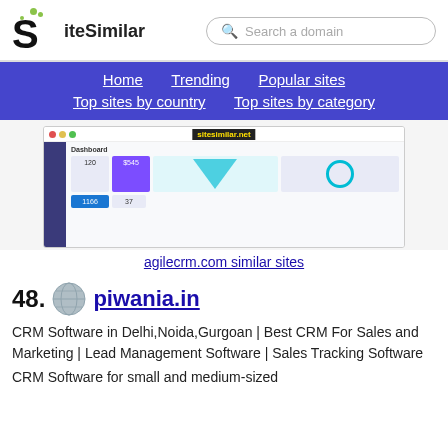SiteSimilar — Search a domain
[Figure (screenshot): Navigation menu with Home, Trending, Popular sites, Top sites by country, Top sites by category links on purple background]
[Figure (screenshot): Screenshot of agilecrm.com dashboard interface with sitesimilar.net badge]
agilecrm.com similar sites
48. piwania.in — CRM Software in Delhi,Noida,Gurgoan | Best CRM For Sales and Marketing | Lead Management Software | Sales Tracking Software
CRM Software for small and medium-sized